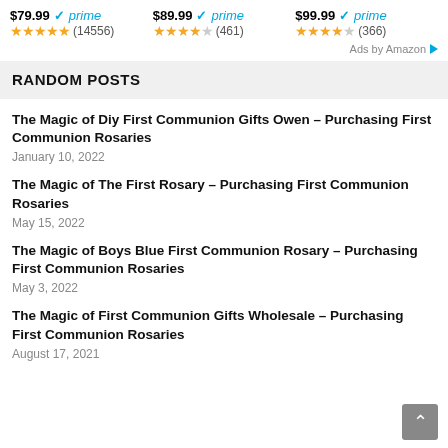[Figure (other): Amazon ad bar showing three products with prices $79.99, $89.99, $99.99, all Prime eligible, with star ratings (14556 reviews, 461 reviews, 366 reviews)]
Ads by Amazon
RANDOM POSTS
The Magic of Diy First Communion Gifts Owen – Purchasing First Communion Rosaries
January 10, 2022
The Magic of The First Rosary – Purchasing First Communion Rosaries
May 15, 2022
The Magic of Boys Blue First Communion Rosary – Purchasing First Communion Rosaries
May 3, 2022
The Magic of First Communion Gifts Wholesale – Purchasing First Communion Rosaries
August 17, 2021